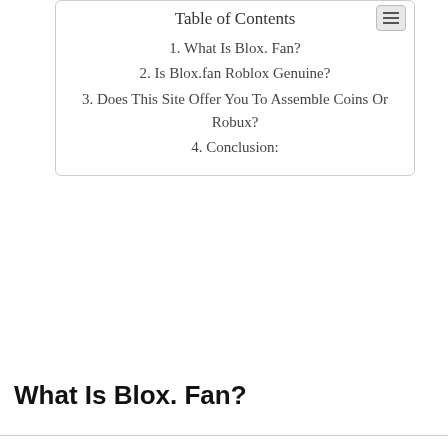Table of Contents
1. What Is Blox. Fan?
2. Is Blox.fan Roblox Genuine?
3. Does This Site Offer You To Assemble Coins Or Robux?
4. Conclusion:
What Is Blox. Fan?
We use cookies on our website to give you the most relevant experience by remembering your preferences and repeat visits. By clicking “Accept All”, you consent to the use of ALL the cookies. However, you may visit "Cookie Settings" to provide a controlled consent.